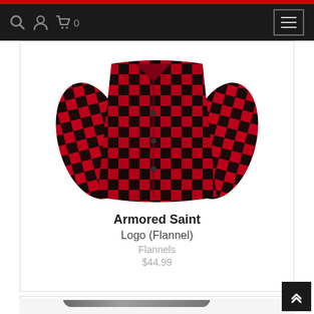navigation bar with search, account, cart (0), and menu icons
[Figure (photo): Red and black buffalo plaid flannel shirt laid flat, showing front with buttons and long sleeves]
Armored Saint
Logo (Flannel)
Flannels
$44.99
[Figure (photo): Stainless steel hip flask with screw cap and attached cap tether, shown from front angle]